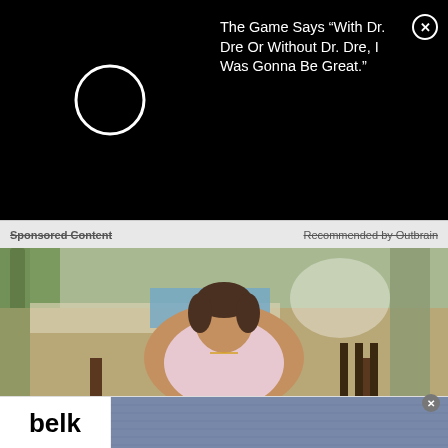[Figure (screenshot): Black banner advertisement. A white circle icon on the left. Text on the right reads: The Game Says "With Dr. Dre Or Without Dr. Dre, I Was Gonna Be Great." Close button (X in circle) at top right.]
Sponsored Content     Recommended by Outbrain
[Figure (photo): Photograph of a woman with short dark hair wearing a floral top, sitting at an outdoor patio or pool area with palm trees in the background.]
[Figure (screenshot): Belk advertisement banner at the bottom. Left side shows 'belk' logo in black text on white. Right side shows jeans image with text 'TRUE BLUE. MADE FOR YOU' and 'Shop True Craft Denim'. Close X button at top right.]